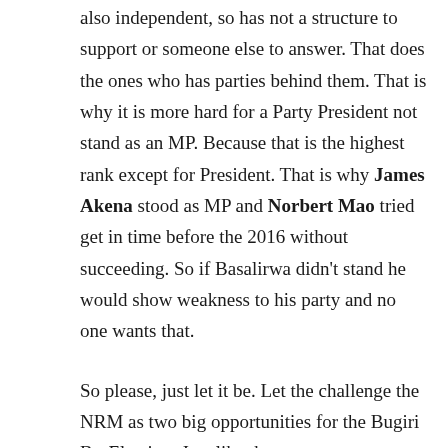also independent, so has not a structure to support or someone else to answer. That does the ones who has parties behind them. That is why it is more hard for a Party President not stand as an MP. Because that is the highest rank except for President. That is why James Akena stood as MP and Norbert Mao tried get in time before the 2016 without succeeding. So if Basalirwa didn't stand he would show weakness to his party and no one wants that.
So please, just let it be. Let the challenge the NRM as two big opportunities for the Bugiri By-Election. Just like there were two possible candidate to pick from in Kyadondo East, there will be two in Bugiri. If the public want to go for them, then they should vote and stand-by as the counting appears. The NRM will use their tricks. But if they want justice and a fair candidate to elected. All of the